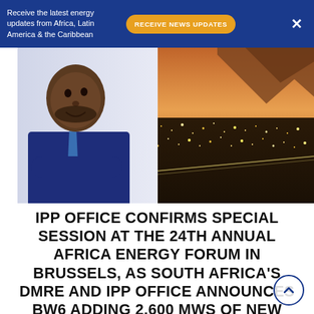Receive the latest energy updates from Africa, Latin America & the Caribbean
[Figure (photo): A man in a dark blue suit smiling, with a city skyline and mountain at sunset in the background]
IPP OFFICE CONFIRMS SPECIAL SESSION AT THE 24TH ANNUAL AFRICA ENERGY FORUM IN BRUSSELS, AS SOUTH AFRICA'S DMRE AND IPP OFFICE ANNOUNCES BW6 ADDING 2,600 MWS OF NEW CAPACITY TO THE ENERGY MIX